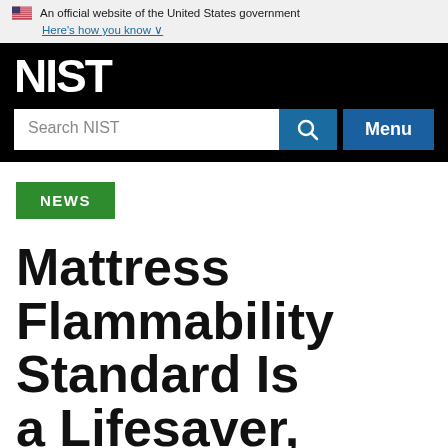An official website of the United States government
Here's how you know ∨
[Figure (logo): NIST logo — white bold text 'NIST' on black background]
Search NIST
Menu
NEWS
Mattress Flammability Standard Is a Lifesaver, NIST